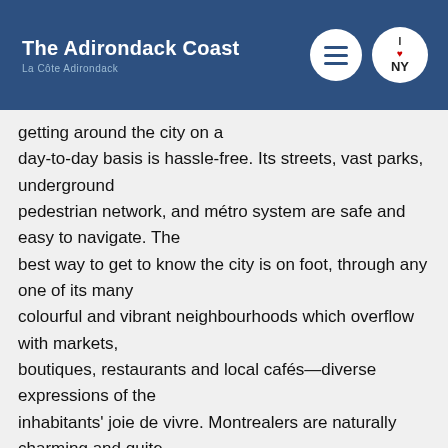The Adirondack Coast / La Côte Adirondack
Getting around the city on a day-to-day basis is hassle-free. Its streets, vast parks, underground pedestrian network, and métro system are safe and easy to navigate. The best way to get to know the city is on foot, through any one of its many colourful and vibrant neighbourhoods which overflow with markets, boutiques, restaurants and local cafés—diverse expressions of the inhabitants' joie de vivre. Montrealers are naturally charming and quite often multilingual. Their spontaneity and ability to welcome visitors have propelled Montréal to its current position of international host city, where some of the world's most exciting events are held annually.